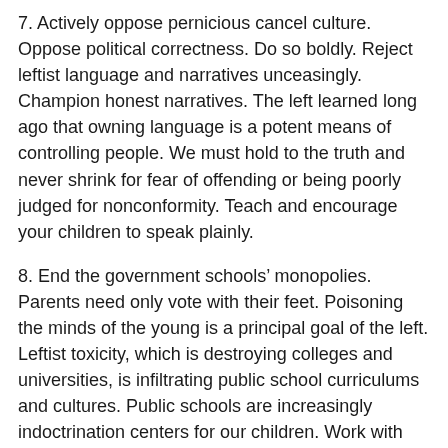7. Actively oppose pernicious cancel culture. Oppose political correctness. Do so boldly. Reject leftist language and narratives unceasingly. Champion honest narratives. The left learned long ago that owning language is a potent means of controlling people. We must hold to the truth and never shrink for fear of offending or being poorly judged for nonconformity. Teach and encourage your children to speak plainly.
8. End the government schools’ monopolies. Parents need only vote with their feet. Poisoning the minds of the young is a principal goal of the left. Leftist toxicity, which is destroying colleges and universities, is infiltrating public school curriculums and cultures. Public schools are increasingly indoctrination centers for our children. Work with likeminded parents to create cooperatives that burden-share the time and costs of home schooling.
9. Let’s unite as people of faith, regardless of our religions. We must never apologize for obedience to God. We must fight efforts to bully religion from the public square. We must defy laws that infringe our right to express our faith. The left